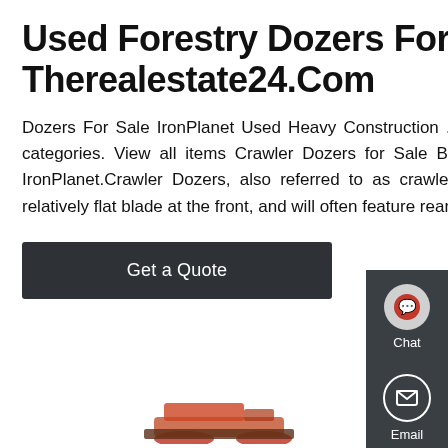Used Forestry Dozers For Sale - Therealestate24.Com
Dozers For Sale IronPlanet Used Heavy Construction . $1,000. 3 hours ago Forestry Oil & Gas View all categories. View all items Crawler Dozers for Sale Buy and sell unused and used Crawler Dozers at IronPlanet.Crawler Dozers, also referred to as crawler tractors or bulldozers, typically feature a large, relatively flat blade at the front, and will often feature rear ripper.
Get a Quote
[Figure (screenshot): Sidebar overlay with Chat, Email, and Contact icons on dark background]
[Figure (photo): Partial view of a forestry bulldozer/dozer at the bottom of the page]